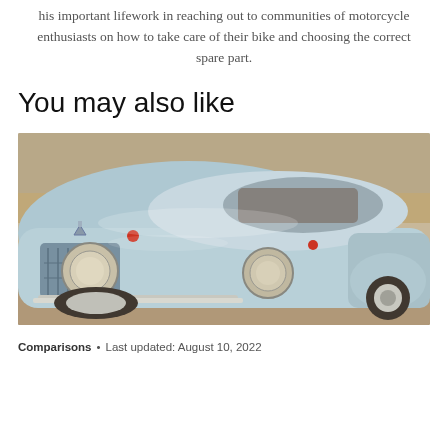his important lifework in reaching out to communities of motorcycle enthusiasts on how to take care of their bike and choosing the correct spare part.
You may also like
[Figure (photo): Vintage light blue car photographed from a front-angle view, showing round headlights, chrome grille, and classic rounded body style, parked on a cobblestone or pavement surface.]
Comparisons • Last updated: August 10, 2022